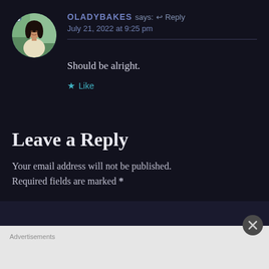[Figure (photo): Circular avatar photo of a young woman with dark hair, wearing a light-colored top, outdoors with greenery in background]
OLADYBAKES says: ↩ Reply
July 21, 2022 at 9:25 pm
Should be alright.
★ Like
Leave a Reply
Your email address will not be published. Required fields are marked *
Advertisements